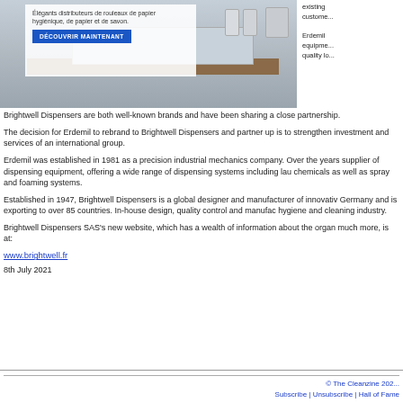[Figure (photo): Bathroom dispensers website screenshot with French overlay text and 'DÉCOUVRIR MAINTENANT' button, alongside a bathroom shelf/sink image]
existing customers.
Erdemil equipment quality lo
Brightwell Dispensers are both well-known brands and have been sharing a close partnership.
The decision for Erdemil to rebrand to Brightwell Dispensers and partner up is to strengthen investment and services of an international group.
Erdemil was established in 1981 as a precision industrial mechanics company. Over the years supplier of dispensing equipment, offering a wide range of dispensing systems including lau chemicals as well as spray and foaming systems.
Established in 1947, Brightwell Dispensers is a global designer and manufacturer of innovative Germany and is exporting to over 85 countries. In-house design, quality control and manufac hygiene and cleaning industry.
Brightwell Dispensers SAS's new website, which has a wealth of information about the organ much more, is at:
www.brightwell.fr
8th July 2021
© The Cleanzine 202 Subscribe | Unsubscribe | Hall of Fame